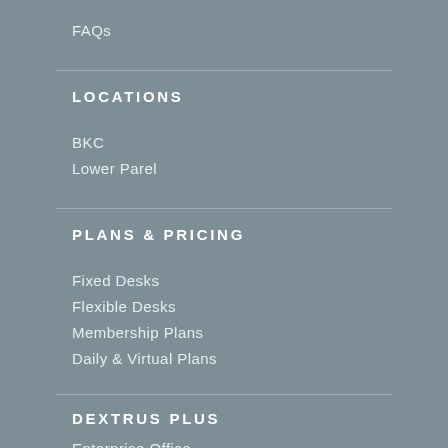FAQs
LOCATIONS
BKC
Lower Parel
PLANS & PRICING
Fixed Desks
Flexible Desks
Membership Plans
Daily & Virtual Plans
DEXTRUS PLUS
Enterprise Office